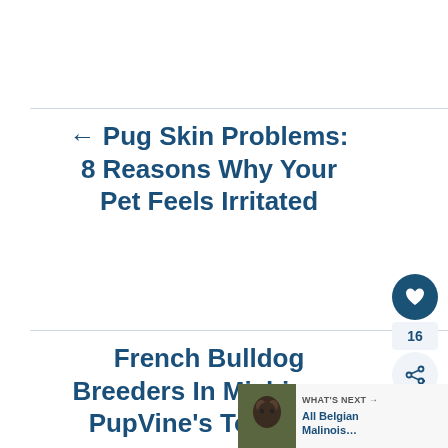← Pug Skin Problems: 8 Reasons Why Your Pet Feels Irritated
French Bulldog Breeders In Michigan... PupVine's Top 8! →
[Figure (other): Heart (like) button icon, dark blue circle]
16
[Figure (other): Share button icon, light grey circle]
[Figure (other): WHAT'S NEXT → All Belgian Malinois... with dog thumbnail image]